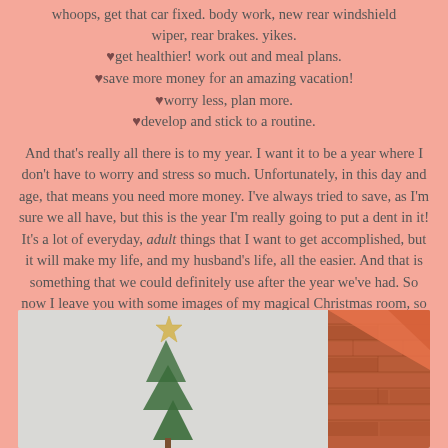whoops, get that car fixed. body work, new rear windshield wiper, rear brakes. yikes.
♥get healthier! work out and meal plans.
♥save more money for an amazing vacation!
♥worry less, plan more.
♥develop and stick to a routine.
And that's really all there is to my year. I want it to be a year where I don't have to worry and stress so much. Unfortunately, in this day and age, that means you need more money. I've always tried to save, as I'm sure we all have, but this is the year I'm really going to put a dent in it! It's a lot of everyday, adult things that I want to get accomplished, but it will make my life, and my husband's life, all the easier. And that is something that we could definitely use after the year we've had. So now I leave you with some images of my magical Christmas room, so I can remember it forever, and with this;
[Figure (photo): Christmas tree topper star visible above a Christmas tree, with a brick wall and orange ribbon decoration visible on the right side. Light grey/white background.]